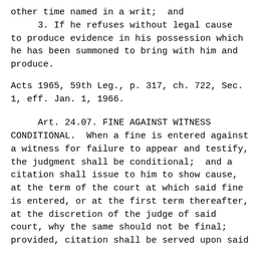other time named in a writ;  and
3. If he refuses without legal cause to produce evidence in his possession which he has been summoned to bring with him and produce.
Acts 1965, 59th Leg., p. 317, ch. 722, Sec. 1, eff. Jan. 1, 1966.
Art. 24.07. FINE AGAINST WITNESS CONDITIONAL.  When a fine is entered against a witness for failure to appear and testify, the judgment shall be conditional;  and a citation shall issue to him to show cause, at the term of the court at which said fine is entered, or at the first term thereafter, at the discretion of the judge of said court, why the same should not be final;  provided, citation shall be served upon said